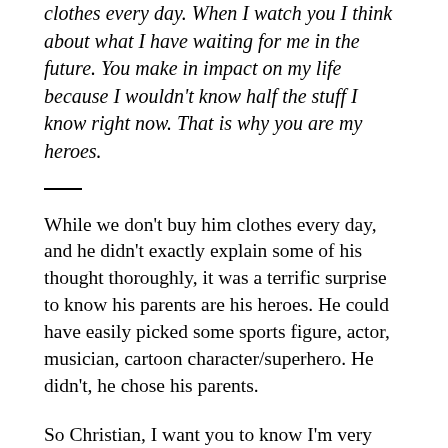clothes every day. When I watch you I think about what I have waiting for me in the future. You make in impact on my life because I wouldn't know half the stuff I know right now. That is why you are my heroes.
While we don't buy him clothes every day, and he didn't exactly explain some of his thought thoroughly, it was a terrific surprise to know his parents are his heroes. He could have easily picked some sports figure, actor, musician, cartoon character/superhero. He didn't, he chose his parents.
So Christian, I want you to know I'm very proud of you. We may not always get along, but that's how it goes between parents and kids. Your stepfather, bio father, stepmother and I are all extremely lucky to